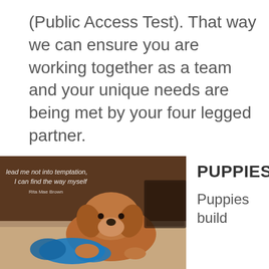(Public Access Test). That way we can ensure you are working together as a team and your unique needs are being met by your four legged partner.
[Figure (photo): A golden/red puppy lying down, with blue toy/glove, with overlaid quote text: 'lead me not into temptation, I can find the way myself' - Rita Mae Brown]
PUPPIES
Puppies build